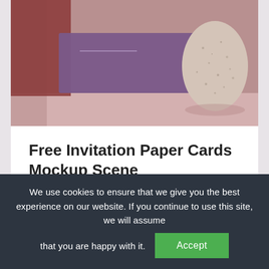[Figure (photo): Product mockup photo showing invitation paper cards in dark purple/mauve color against a dark red background, with a speckled stone egg/vase object on the right side, set on a pink-mauve surface.]
Free Invitation Paper Cards Mockup Scene
Free invitation paper cards mockup scene to showcase your design in a photorealistic style. Simple edit with smart layers. Free for personal and commercial use. Have fun!
We use cookies to ensure that we give you the best experience on our website. If you continue to use this site, we will assume that you are happy with it.